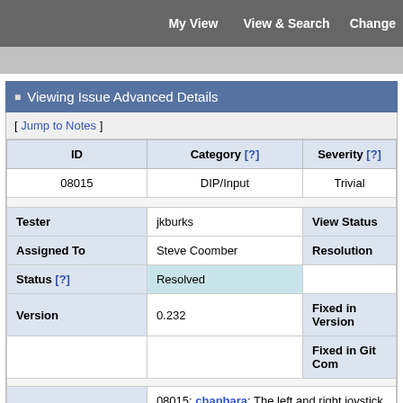My View   View & Search   Change
Viewing Issue Advanced Details
[ Jump to Notes ]
| ID | Category [?] | Severity [?] |
| --- | --- | --- |
| 08015 | DIP/Input | Trivial |
| Tester | jkburks | View Status |
| Assigned To | Steve Coomber | Resolution |
| Status [?] | Resolved |  |
| Version | 0.232 | Fixed in Version |
|  |  | Fixed in Git Com |
| Summary | 08015: chanbara: The left and right joystick inpu |  |